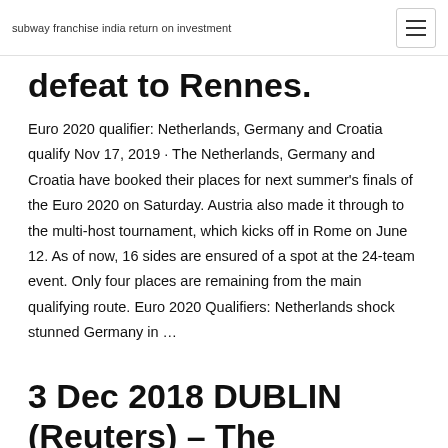subway franchise india return on investment
defeat to Rennes.
Euro 2020 qualifier: Netherlands, Germany and Croatia qualify Nov 17, 2019 · The Netherlands, Germany and Croatia have booked their places for next summer's finals of the Euro 2020 on Saturday. Austria also made it through to the multi-host tournament, which kicks off in Rome on June 12. As of now, 16 sides are ensured of a spot at the 24-team event. Only four places are remaining from the main qualifying route. Euro 2020 Qualifiers: Netherlands shock stunned Germany in …
3 Dec 2018 DUBLIN (Reuters) – The Netherlands and Germany were grouped together in qualifications for the